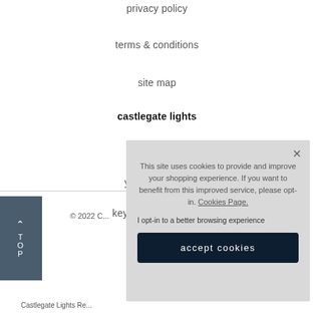privacy policy
terms & conditions
site map
castlegate lights
about us
youth discount
key worker discount
© 2022 C...
This site uses cookies to provide and improve your shopping experience. If you want to benefit from this improved service, please opt-in. Cookies Page.
I opt-in to a better browsing experience
accept cookies
Castlegate Lights Re...